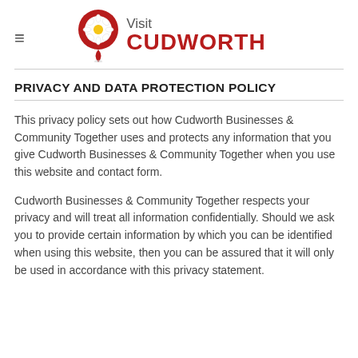Visit CUDWORTH
PRIVACY AND DATA PROTECTION POLICY
This privacy policy sets out how Cudworth Businesses & Community Together uses and protects any information that you give Cudworth Businesses & Community Together when you use this website and contact form.
Cudworth Businesses & Community Together respects your privacy and will treat all information confidentially. Should we ask you to provide certain information by which you can be identified when using this website, then you can be assured that it will only be used in accordance with this privacy statement.